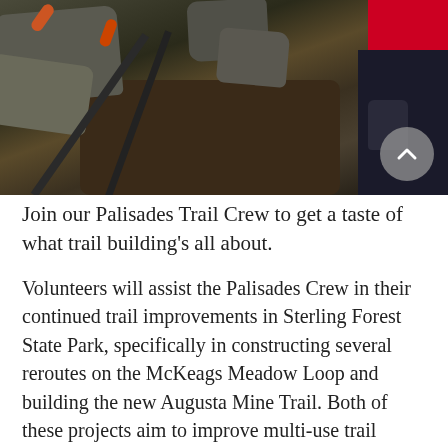[Figure (photo): A person using a pry bar or shovel tool to work with rocks and soil, trail building work scene with dark rocky terrain and soil excavation]
Join our Palisades Trail Crew to get a taste of what trail building's all about.
Volunteers will assist the Palisades Crew in their continued trail improvements in Sterling Forest State Park, specifically in constructing several reroutes on the McKeags Meadow Loop and building the new Augusta Mine Trail. Both of these projects aim to improve multi-use trail options and experiences within the park. Work may include vegetation clearing, trail surface excavation, and moving and building with large